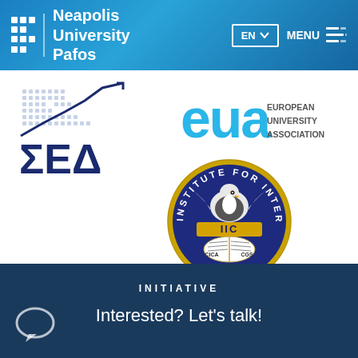[Figure (logo): Neapolis University Pafos header with navigation: EN language selector and MENU button]
[Figure (logo): ΣΕΔ (Hellenic Management Association) logo with bar/line chart graphic above Greek letters ΣΕΔ]
[Figure (logo): EUA - European University Association logo in blue]
[Figure (logo): IIC - Institute for Internal Controls circular badge logo with eagle, open book, CICA CGS text and stars]
INITIATIVE
Interested? Let's talk!